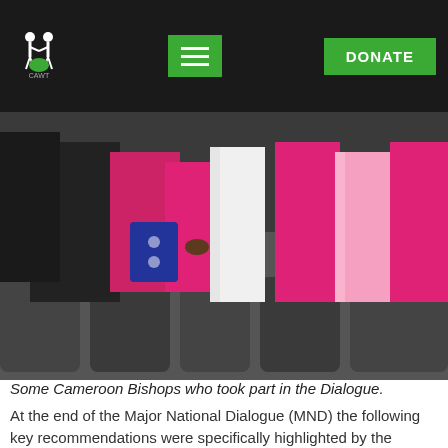CAWT logo, hamburger menu, DONATE button
[Figure (photo): Some Cameroon Bishops in pink and white robes seated and standing in a conference hall during the Dialogue.]
Some Cameroon Bishops who took part in the Dialogue.
At the end of the Major National Dialogue (MND) the following key recommendations were specifically highlighted by the General rapporteur:
Grant a special status to the North West and South West Regions in conformity with section 62 sub 2 of the constitution of the republic.
Take specific measures to ensure equality of English and French in all aspects of life.
Reinforce the autonomy of decentralized local entities (partially visible)